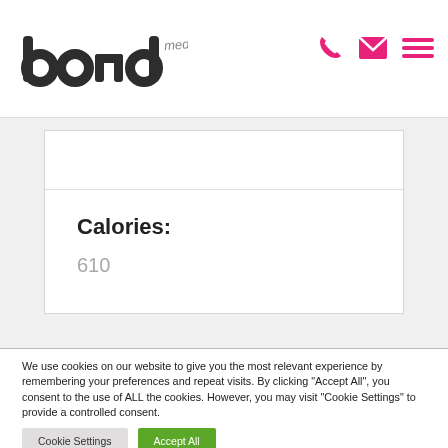bond media — navigation header with logo and icons
Calories:
610
We use cookies on our website to give you the most relevant experience by remembering your preferences and repeat visits. By clicking "Accept All", you consent to the use of ALL the cookies. However, you may visit "Cookie Settings" to provide a controlled consent.